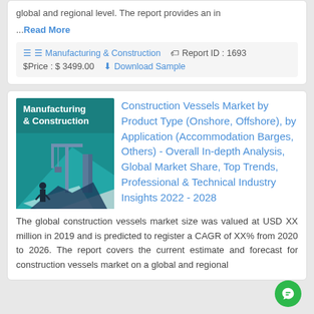global and regional level. The report provides an in
...Read More
Manufacturing & Construction   Report ID : 1693   $Price : $ 3499.00   Download Sample
[Figure (illustration): Manufacturing & Construction teal/dark illustrated image showing construction crane and infrastructure]
Construction Vessels Market by Product Type (Onshore, Offshore), by Application (Accommodation Barges, Others) - Overall In-depth Analysis, Global Market Share, Top Trends, Professional & Technical Industry Insights 2022 - 2028
The global construction vessels market size was valued at USD XX million in 2019 and is predicted to register a CAGR of XX% from 2020 to 2026. The report covers the current estimate and forecast for construction vessels market on a global and regional